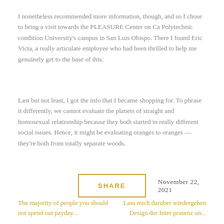I nonetheless recommended more information, though, and so I chose to bring a visit towards the PLEASURE Center on Ca Polytechnic condition University's campus in San Luis Obispo. There I found Eric Victa, a really articulate employee who had been thrilled to help me genuinely get to the base of this:
Last but not least, I got the info that I became shopping for. To phrase it differently, we cannot evaluate the planets of straight and homosexual relationship because they both started in really different social issues. Hence, it might be evaluating oranges to oranges — they're both from totally separate woods.
SHARE
November 22, 2021
The majority of people you should not spend out payday...
Lass mich daruber wiedergeben Design der Inter prasenz un...